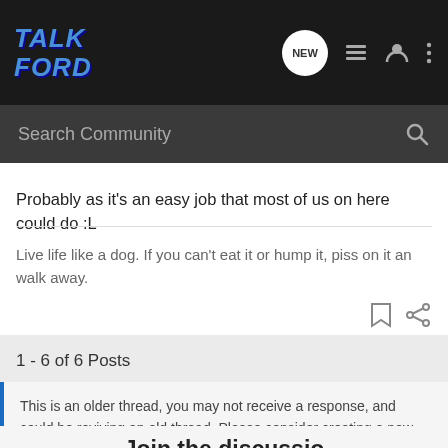TalkFord
Probably as it's an easy job that most of us on here could do :L
Live life like a dog. If you can't eat it or hump it, piss on it an walk away.
1 - 6 of 6 Posts
This is an older thread, you may not receive a response, and could be reviving an old thread. Please consider creating a new thread.
Join the discussion